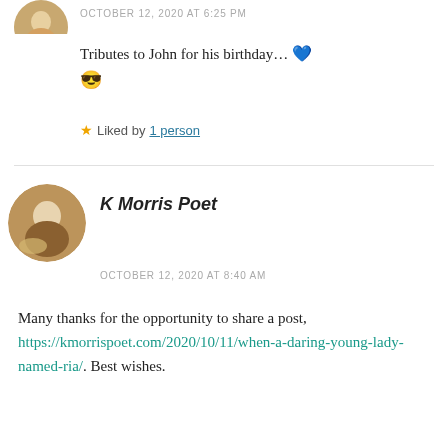[Figure (photo): Partial circular avatar image cropped at top of page]
OCTOBER 12, 2020 AT 6:25 PM
Tributes to John for his birthday... 💙 😎
★ Liked by 1 person
[Figure (photo): Circular avatar photo of K Morris Poet, showing a person sitting outdoors with a dog]
K Morris Poet
OCTOBER 12, 2020 AT 8:40 AM
Many thanks for the opportunity to share a post, https://kmorrispoet.com/2020/10/11/when-a-daring-young-lady-named-ria/. Best wishes.